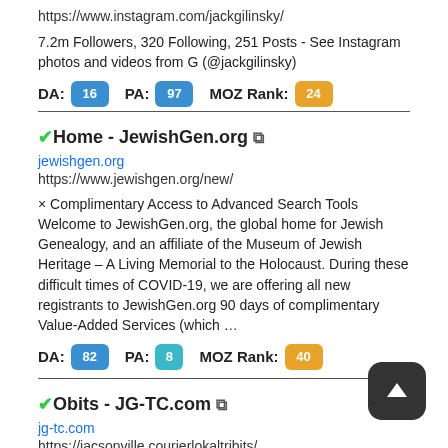https://www.instagram.com/jackgilinsky/
7.2m Followers, 320 Following, 251 Posts - See Instagram photos and videos from G (@jackgilinsky)
DA: 10  PA: 97  MOZ Rank: 24
Home - JewishGen.org
jewishgen.org
https://www.jewishgen.org/new/
× Complimentary Access to Advanced Search Tools Welcome to JewishGen.org, the global home for Jewish Genealogy, and an affiliate of the Museum of Jewish Heritage – A Living Memorial to the Holocaust. During these difficult times of COVID-19, we are offering all new registrants to JewishGen.org 90 days of complimentary Value-Added Services (which …
DA: 82  PA: 8  MOZ Rank: 40
Obits - JG-TC.com
jg-tc.com
https://jacsonville.courierlokaltribits/